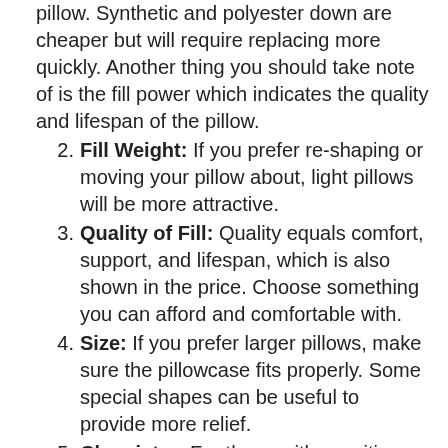pillow. Synthetic and polyester down are cheaper but will require replacing more quickly. Another thing you should take note of is the fill power which indicates the quality and lifespan of the pillow.
2. Fill Weight: If you prefer re-shaping or moving your pillow about, light pillows will be more attractive.
3. Quality of Fill: Quality equals comfort, support, and lifespan, which is also shown in the price. Choose something you can afford and comfortable with.
4. Size: If you prefer larger pillows, make sure the pillowcase fits properly. Some special shapes can be useful to provide more relief.
5. Chemistry: For those with sensitive skin and allergies, check what goes into your pillow before purchasing it.
How Your Sleeping Position Affects Your Pillow Choice